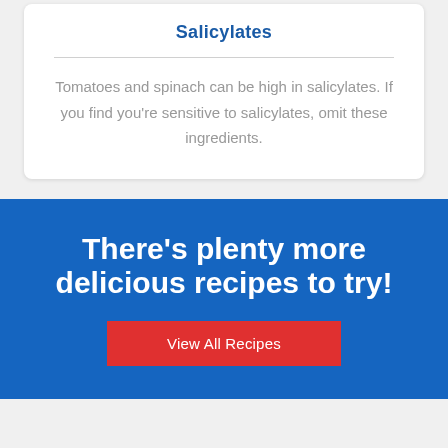Salicylates
Tomatoes and spinach can be high in salicylates. If you find you're sensitive to salicylates, omit these ingredients.
There's plenty more delicious recipes to try!
View All Recipes